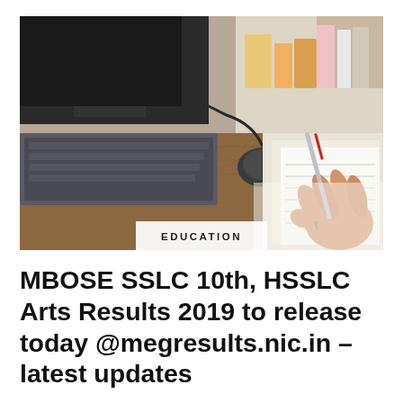[Figure (photo): A person writing on paper at a desk with a keyboard, mouse, and other desk items visible in the background. A category badge reading 'EDUCATION' is overlaid at the bottom center of the image.]
MBOSE SSLC 10th, HSSLC Arts Results 2019 to release today @megresults.nic.in – latest updates